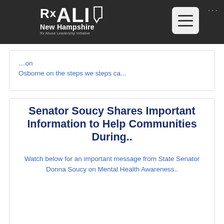RXALI New Hampshire - Rx Abuse Leadership Initiative - Navigation header with hamburger menu
Osborne on the steps we steps ca...
Senator Soucy Shares Important Information to Help Communities During..
Watch below for an important message from State Senator Donna Soucy on Mental Health Awareness..
Supporting Loved Ones During Mental Health